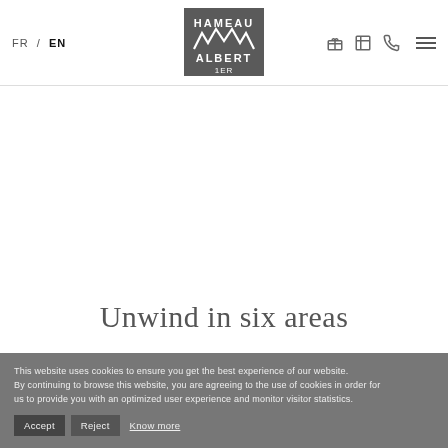FR / EN | Hameau Albert 1er | [icons: gift, book, phone, menu]
Unwind in six areas
This website uses cookies to ensure you get the best experience of our website. By continuing to browse this website, you are agreeing to the use of cookies in order for us to provide you with an optimized user experience and monitor visitor statistics.
Accept | Reject | Know more